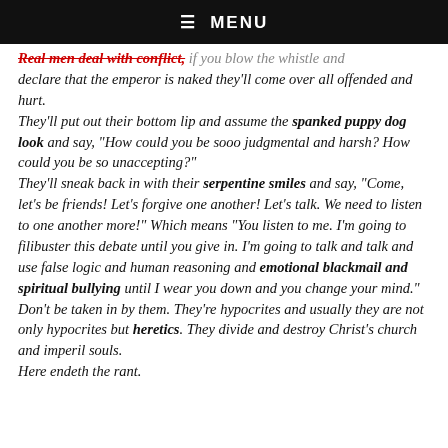☰  MENU
Real men deal with conflict. if you blow the whistle and declare that the emperor is naked they'll come over all offended and hurt. They'll put out their bottom lip and assume the spanked puppy dog look and say, "How could you be sooo judgmental and harsh? How could you be so unaccepting?" They'll sneak back in with their serpentine smiles and say, "Come, let's be friends! Let's forgive one another! Let's talk. We need to listen to one another more!" Which means "You listen to me. I'm going to filibuster this debate until you give in. I'm going to talk and talk and use false logic and human reasoning and emotional blackmail and spiritual bullying until I wear you down and you change your mind." Don't be taken in by them. They're hypocrites and usually they are not only hypocrites but heretics. They divide and destroy Christ's church and imperil souls. Here endeth the rant.